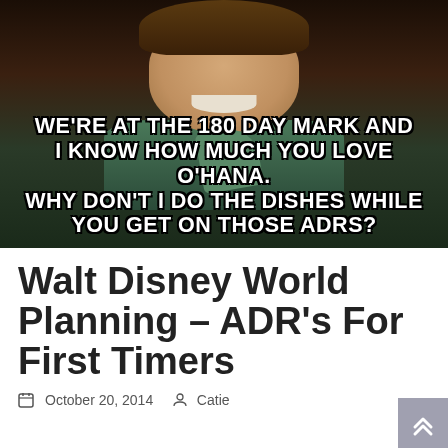[Figure (photo): Meme image featuring an animated character (Flynn Rider from Tangled) smiling, with bold white text overlaid reading: WE'RE AT THE 180 DAY MARK AND I KNOW HOW MUCH YOU LOVE O'HANA. WHY DON'T I DO THE DISHES WHILE YOU GET ON THOSE ADRS?]
Walt Disney World Planning – ADR's For First Timers
October 20, 2014  Catie